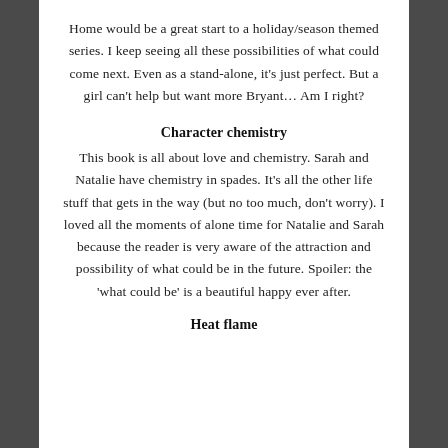Home would be a great start to a holiday/season themed series. I keep seeing all these possibilities of what could come next. Even as a stand-alone, it's just perfect. But a girl can't help but want more Bryant… Am I right?
Character chemistry
This book is all about love and chemistry. Sarah and Natalie have chemistry in spades. It's all the other life stuff that gets in the way (but no too much, don't worry). I loved all the moments of alone time for Natalie and Sarah because the reader is very aware of the attraction and possibility of what could be in the future. Spoiler: the 'what could be' is a beautiful happy ever after.
Heat flame